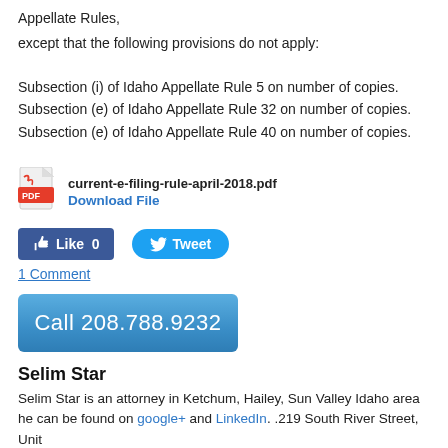Appellate Rules,
except that the following provisions do not apply:
Subsection (i) of Idaho Appellate Rule 5 on number of copies. Subsection (e) of Idaho Appellate Rule 32 on number of copies. Subsection (e) of Idaho Appellate Rule 40 on number of copies.
[Figure (other): PDF file icon (Adobe Acrobat red icon)]
current-e-filing-rule-april-2018.pdf
Download File
[Figure (other): Facebook Like button (blue, count 0) and Twitter Tweet button (blue rounded)]
1 Comment
Call 208.788.9232
Selim Star
Selim Star is an attorney in Ketchum, Hailey, Sun Valley Idaho area he can be found on google+ and LinkedIn. .219 South River Street, Unit